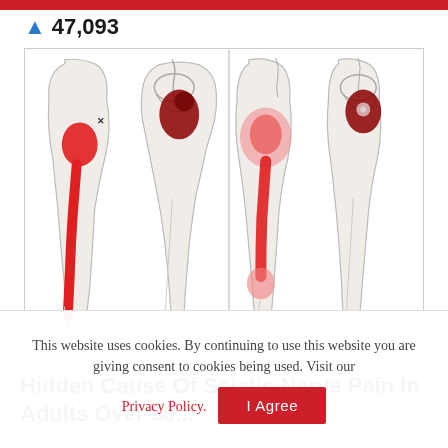47,093
[Figure (illustration): Medical illustration showing four views of legs and hips with red highlighted areas indicating sciatic nerve pain locations. Two views show the rear/side of the leg with a large red oval on the buttock and a stripe of red running down the thigh and calf. Two views show skeletal hip anatomy with the sciatic nerve highlighted in dark red where it exits the pelvis, and diffuse red pain region spreading down the outer thigh and knee.]
Hidden Cause Of Sciatic Nerve Pain In Adults Over 50...
This website uses cookies. By continuing to use this website you are giving consent to cookies being used. Visit our
Privacy Policy.
I Agree